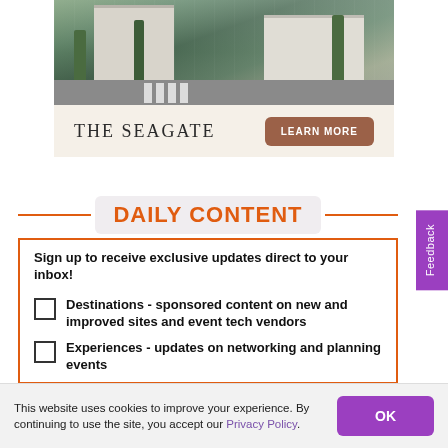[Figure (photo): Aerial/elevated view of The Seagate property with white buildings, palm trees, and a street/crosswalk in a tropical setting.]
THE SEAGATE   LEARN MORE
DAILY CONTENT
Sign up to receive exclusive updates direct to your inbox!
Destinations - sponsored content on new and improved sites and event tech vendors
Experiences - updates on networking and planning events
This website uses cookies to improve your experience. By continuing to use the site, you accept our Privacy Policy.
Feedback